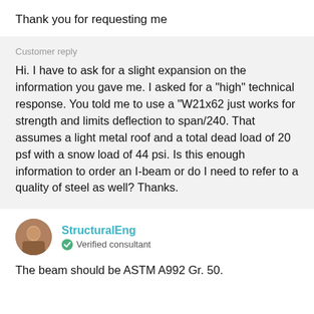Thank you for requesting me
Customer reply
Hi. I have to ask for a slight expansion on the information you gave me. I asked for a "high" technical response. You told me to use a "W21x62 just works for strength and limits deflection to span/240. That assumes a light metal roof and a total dead load of 20 psf with a snow load of 44 psi. Is this enough information to order an I-beam or do I need to refer to a quality of steel as well? Thanks.
StructuralEng
Verified consultant
The beam should be ASTM A992 Gr. 50.